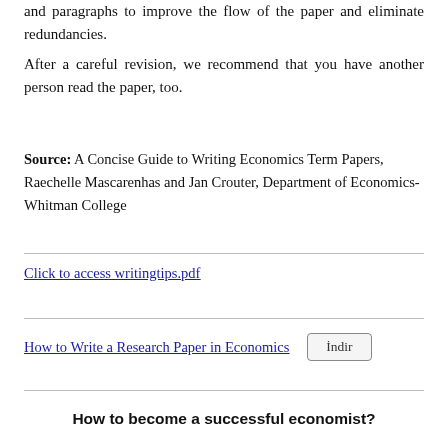and paragraphs to improve the flow of the paper and eliminate redundancies.
After a careful revision, we recommend that you have another person read the paper, too.
Source: A Concise Guide to Writing Economics Term Papers, Raechelle Mascarenhas and Jan Crouter, Department of Economics- Whitman College
Click to access writingtips.pdf
How to Write a Research Paper in Economics
How to become a successful economist?